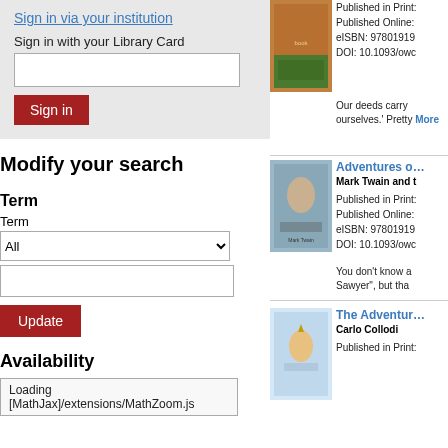Sign in via your institution
Sign in with your Library Card
Sign in
Modify your search
Term
Term
Update
Availability
Loading [MathJax]/extensions/MathZoom.js
[Figure (photo): Book cover for first title]
Published in Print:
Published Online:
eISBN: 97801919
DOI: 10.1093/owc
Our deeds carry ourselves.' Pretty
More
[Figure (photo): Book cover for Adventures of Huckleberry Finn]
Adventures o
Mark Twain and t
Published in Print:
Published Online:
eISBN: 97801919
DOI: 10.1093/owc
You don't know a Sawyer", but tha
[Figure (photo): Book cover for The Adventures of Pinocchio]
The Adventur
Carlo Collodi
Published in Print: